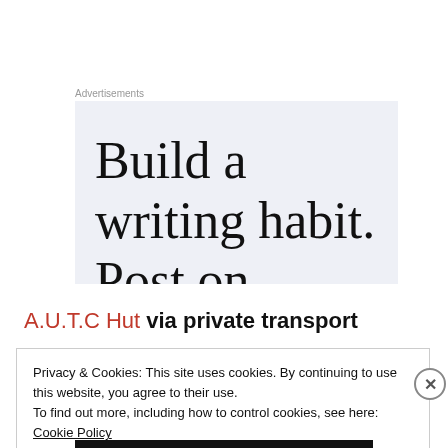Advertisements
[Figure (illustration): Advertisement banner with text 'Build a writing habit. Post on' (cut off) on a light blue-grey background]
A.U.T.C Hut via private transport
Privacy & Cookies: This site uses cookies. By continuing to use this website, you agree to their use.
To find out more, including how to control cookies, see here: Cookie Policy
Close and accept